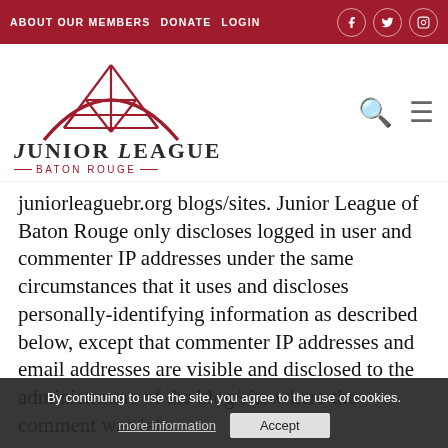ABOUT OUR MEMBERS  DONATE  LOGIN
[Figure (logo): Junior League Baton Rouge logo with red arch and geometric tent design above text 'Junior League Baton Rouge']
juniorleaguebr.org blogs/sites. Junior League of Baton Rouge only discloses logged in user and commenter IP addresses under the same circumstances that it uses and discloses personally-identifying information as described below, except that commenter IP addresses and email addresses are visible and disclosed to the administrators of the blog/site where the comment was left.
By continuing to use the site, you agree to the use of cookies. more information  Accept
GATHERING OF PERSONALLY IDENTIFYING